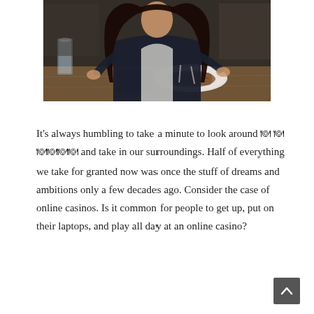[Figure (photo): A woman with long dark hair wearing a dark blazer over a white top, seated at a restaurant table cutting food (appears to be steak) on a white plate. A glass of water and a smartphone are visible on the wooden table. The background shows a blurred restaurant interior.]
It's always humbling to take a minute to look around 🍽 🍽🍽🍽🍽🍽 and take in our surroundings. Half of everything we take for granted now was once the stuff of dreams and ambitions only a few decades ago. Consider the case of online casinos. Is it common for people to get up, put on their laptops, and play all day at an online casino?